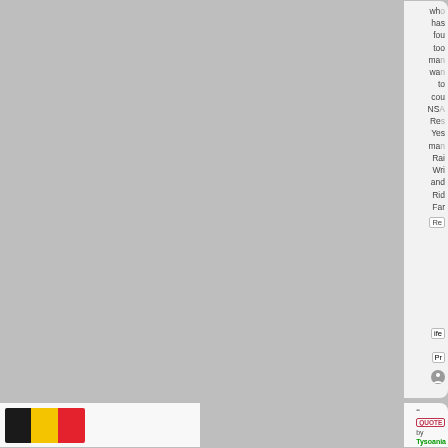[Figure (screenshot): Right edge of a web forum/social media card showing truncated text lines: who, has, fou(nd), too, ma(ny), wa(nts), to, cou(nter), NS(A), Res(pond), Yes, ma(ny), Rai(se), Wri(te), and, Rid, Far. Below that are button stubs labeled 'Re', 'ife', 'Pr', and a circular icon.]
[Figure (screenshot): Bottom card showing Belgian flag (black, yellow, red vertical stripes) on the left, and on the right a QUOTE button with quotation marks icon, a document icon, 'by' text, and 'Tysoania' in green bold text, followed by a closing quote mark.]